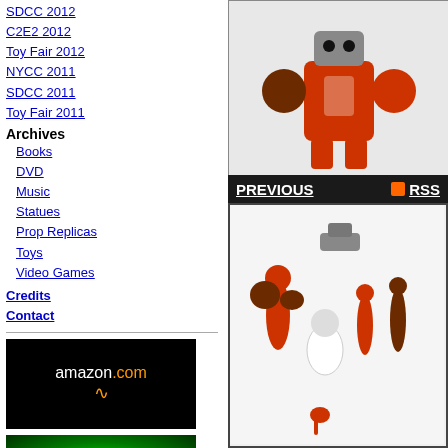SDCC 2012
C2E2 2012
Toy Fair 2012
NYCC 2011
SDCC 2011
Toy Fair 2011
Archives
Books
DVD
Music
Statues
Prop Replicas
Toys
Video Games
Credits
Contact
[Figure (photo): Orange robot action figure with brown fists]
PREVIOUS | RSS
[Figure (photo): amazon.com advertisement banner]
[Figure (photo): Glowing green duck toy photo]
[Figure (photo): Collection of orange and brown toy figures/parts on white background]
The hero with man Pheyden Frontier with extra deco - it with thick paint on replicate the mold that sold out ages heads or anything It looks cool, whic Design crew came back when they st brought back for th lacked the foresig